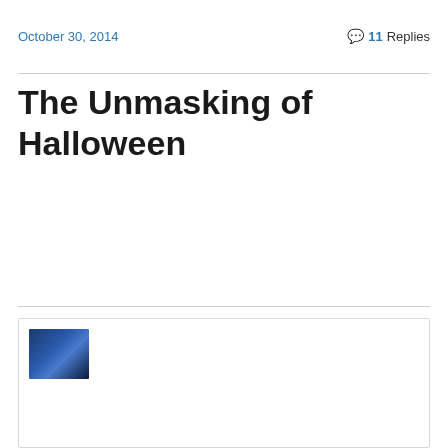October 30, 2014
💬 11 Replies
The Unmasking of Halloween
[Figure (photo): Small dark blue image thumbnail at bottom of page, appears to be a nighttime or dark scene photo.]